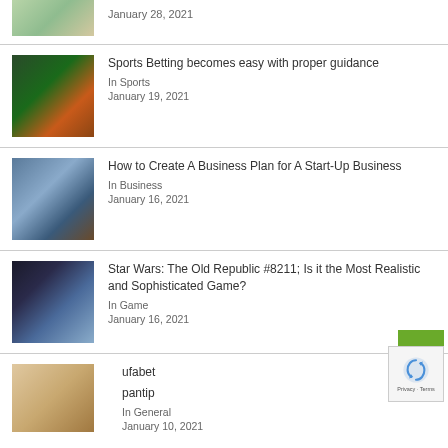[Figure (photo): Partial view of drinks/food photo, top of page]
January 28, 2021
[Figure (photo): Sports betting bar scene with screens]
Sports Betting becomes easy with proper guidance
In Sports
January 19, 2021
[Figure (photo): Person working on laptop with charts/business]
How to Create A Business Plan for A Start-Up Business
In Business
January 16, 2021
[Figure (photo): Star Wars robot/game scene]
Star Wars: The Old Republic #8211; Is it the Most Realistic and Sophisticated Game?
In Game
January 16, 2021
[Figure (photo): Partial ufabet/pantip article thumbnail]
ufabet
pantip
In General
January 10, 2021